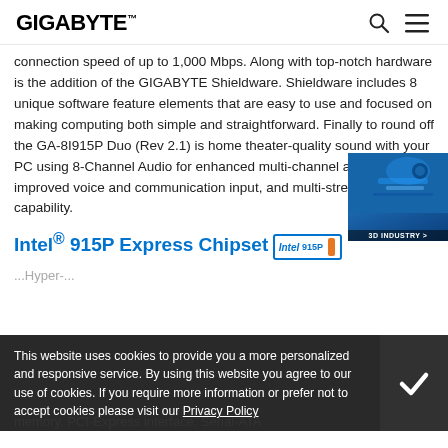GIGABYTE
connection speed of up to 1,000 Mbps. Along with top-notch hardware is the addition of the GIGABYTE Shieldware. Shieldware includes 8 unique software feature elements that are easy to use and focused on making computing both simple and straightforward. Finally to round off the GA-8I915P Duo (Rev 2.1) is home theater-quality sound with your PC using 8-Channel Audio for enhanced multi-channel audio, improved voice and communication input, and multi-streaming capability.
Intel® 915P Express Chipset
[Figure (photo): 3D Industry promotional image showing a rendered circuit board or technology scene with blue background and '3D INDUSTRY >' label]
[Figure (logo): Intel 915P badge/logo with orange bar]
This website uses cookies to provide you a more personalized and responsive service. By using this website you agree to our use of cookies. If you require more information or prefer not to accept cookies please visit our Privacy Policy
memory, PCI-Express interface, Serial-ATA